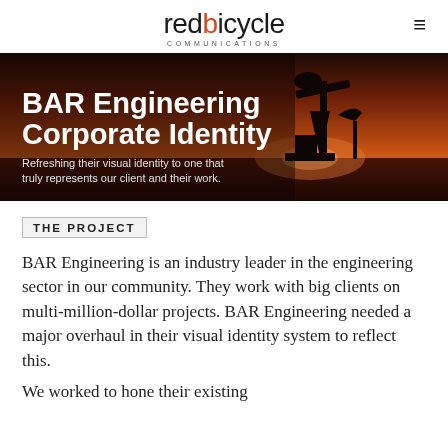redbicycle COMMUNICATIONS
[Figure (photo): Oil pump jack silhouetted against an orange-red sunset sky, with text overlay: 'BAR Engineering Corporate Identity' and subtitle 'Refreshing their visual identity to one that truly represents our client and their work.']
BAR Engineering Corporate Identity
Refreshing their visual identity to one that truly represents our client and their work.
THE PROJECT
BAR Engineering is an industry leader in the engineering sector in our community. They work with big clients on multi-million-dollar projects. BAR Engineering needed a major overhaul in their visual identity system to reflect this.
We worked to hone their existing...